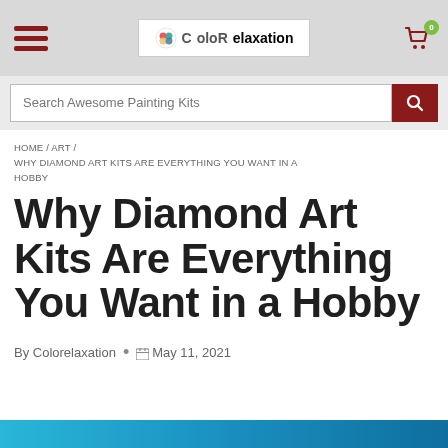ColorRelaxation — hamburger menu, logo, cart icon with badge 0
Search Awesome Painting Kits
HOME / ART / WHY DIAMOND ART KITS ARE EVERYTHING YOU WANT IN A HOBBY
Why Diamond Art Kits Are Everything You Want in a Hobby
By Colorelaxation • May 11, 2021
[Figure (photo): Bottom strip of an image, teal/blue gradient, partially visible at the bottom of the page]